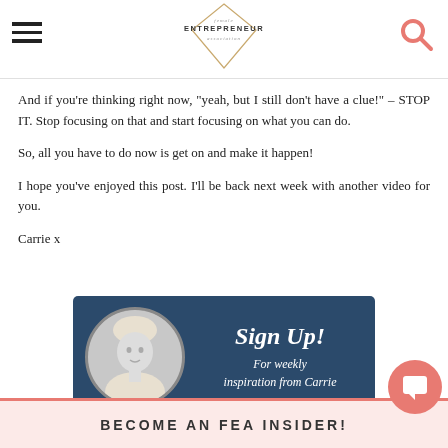female ENTREPRENEUR association
And if you're thinking right now, "yeah, but I still don't have a clue!" – STOP IT. Stop focusing on that and start focusing on what you can do.
So, all you have to do now is get on and make it happen!
I hope you've enjoyed this post. I'll be back next week with another video for you.
Carrie x
[Figure (illustration): Dark blue banner with circular black-and-white photo of a blonde woman on the left, and script text 'Sign Up! For weekly inspiration from Carrie' on the right.]
BECOME AN FEA INSIDER!